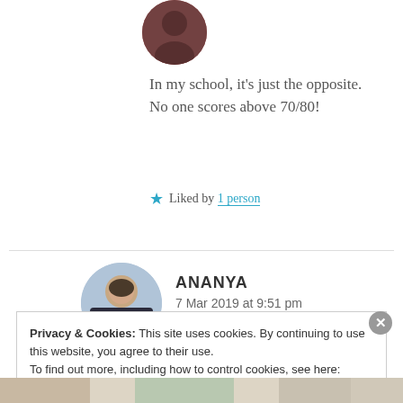[Figure (photo): Circular avatar photo of a person with dark reddish background at top of page]
In my school, it’s just the opposite. No one scores above 70/80!
★ Liked by 1 person
[Figure (photo): Circular avatar photo of Ananya, a young woman smiling outdoors]
ANANYA
7 Mar 2019 at 9:51 pm
Privacy & Cookies: This site uses cookies. By continuing to use this website, you agree to their use.
To find out more, including how to control cookies, see here: Cookie Policy
Close and accept